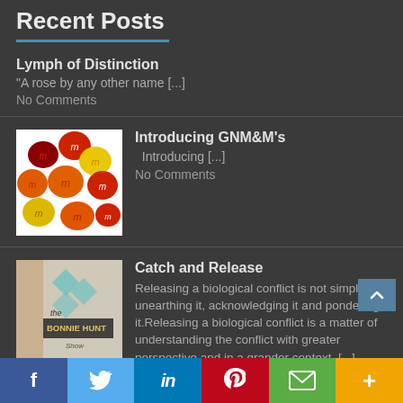Recent Posts
Lymph of Distinction
“A rose by any other name […]
No Comments
[Figure (photo): Colorful M&M candies in red, orange, and yellow colors]
Introducing GNM&M’s
Introducing […]
No Comments
[Figure (photo): The Bonnie Hunt Show logo/cover image with teal diamond shapes on a light background]
Catch and Release
Releasing a biological conflict is not simply unearthing it, acknowledging it and pondering it.Releasing a biological conflict is a matter of understanding the conflict with greater perspective and in a grander context. […]
No Comments
f  Twitter  in  Pinterest  Email  More